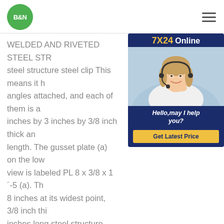[Figure (logo): B&N logo in green circle]
WELDED AND RIVETED STEEL STR… steel structure steel clip This means it h… angles attached, and each of them is a… inches by 3 inches by 3/8 inch thick an… length. The gusset plate (a) on the low… view is labeled PL 8 x 3/8 x 1´-5 (a). Th… 8 inches at its widest point, 3/8 inch thi… inches long steel structure steel clip
[Figure (photo): Customer service representative wearing headset, smiling. Ad overlay with '7X24 Online', 'Hello, may I help you?', and 'Get Latest Price' button.]
What do you need to know about structural steel?What do you need to know about structural steel? Structural steel is one of the basic